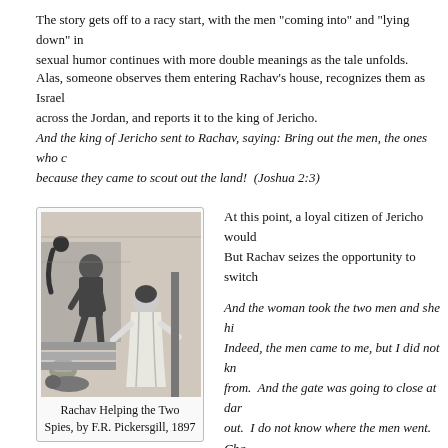The story gets off to a racy start, with the men “coming into” and “lying down” in... sexual humor continues with more double meanings as the tale unfolds.
Alas, someone observes them entering Rachav’s house, recognizes them as Israel... across the Jordan, and reports it to the king of Jericho.
And the king of Jericho sent to Rachav, saying: Bring out the men, the ones who c... because they came to scout out the land!  (Joshua 2:3)
[Figure (illustration): Black and white illustration of Rachav helping two spies, showing a woman in robes at a doorway with men on stairs, by F.R. Pickersgill, 1897]
Rachav Helping the Two Spies, by F.R. Pickersgill, 1897
At this point, a loyal citizen of Jericho would... But Rachav seizes the opportunity to switch...
And the woman took the two men and she hi... Indeed, the men came to me, but I did not kn... from.  And the gate was going to close at dar... out.  I do not know where the men went. Cha... because you can overtake them!” But she ha... roof, and she had hidden them among the fla... stacked for her on the roof.  (Joshua 2:4-6)
After the king’s men are gone, Rachav follo... by climbing up to her roof and speaking to th... She begins: